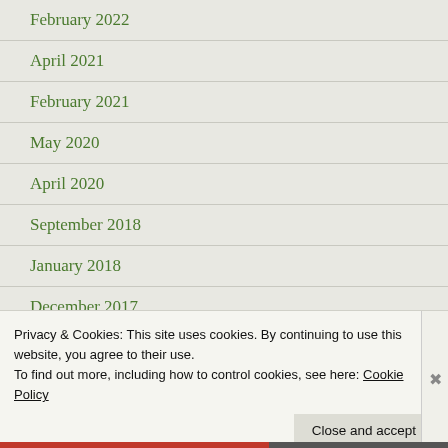February 2022
April 2021
February 2021
May 2020
April 2020
September 2018
January 2018
December 2017
November 2017
May 2017
Privacy & Cookies: This site uses cookies. By continuing to use this website, you agree to their use.
To find out more, including how to control cookies, see here: Cookie Policy
Close and accept